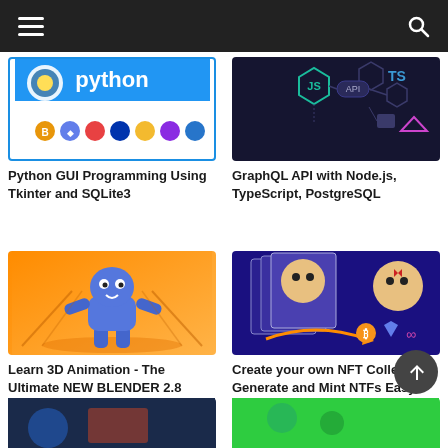[Figure (screenshot): Python GUI Programming course thumbnail - Python logo with cryptocurrency icons on white background with blue border]
Python GUI Programming Using Tkinter and SQLite3
[Figure (screenshot): GraphQL API with Node.js, TypeScript, PostgreSQL course thumbnail - dark background with JS hexagon, API, TS logos]
GraphQL API with Node.js, TypeScript, PostgreSQL
[Figure (screenshot): Learn 3D Animation Blender course thumbnail - blue 3D character on orange gradient background]
Learn 3D Animation - The Ultimate NEW BLENDER 2.8 Course A-Z
[Figure (screenshot): Create your own NFT Collection course thumbnail - anime faces with blockchain symbols on dark blue background]
Create your own NFT Collection, Generate and Mint NTFs Easy!
[Figure (screenshot): Partial thumbnail bottom left - dark blue background]
[Figure (screenshot): Partial thumbnail bottom right - green background]